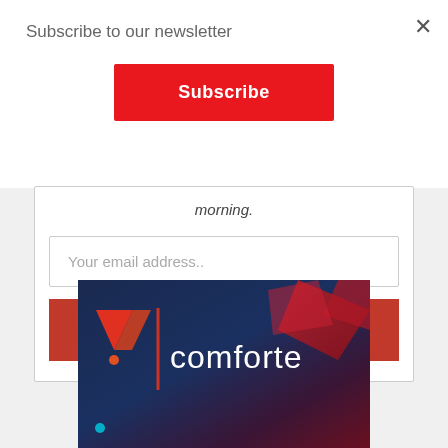Subscribe to our newsletter
Subscribe
morning.
Your email address..
SUBSCRIBE
[Figure (logo): Comforte company logo on dark blue/red geometric background with triangle/arrow icon]